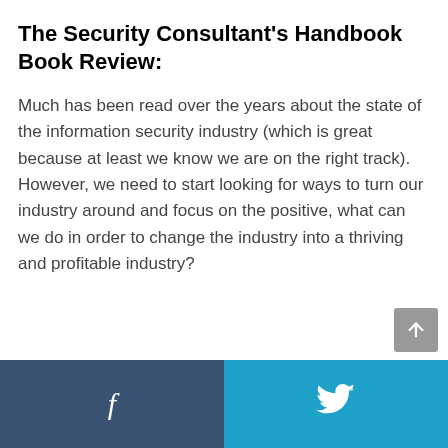The Security Consultant's Handbook Book Review:
Much has been read over the years about the state of the information security industry (which is great because at least we know we are on the right track). However, we need to start looking for ways to turn our industry around and focus on the positive, what can we do in order to change the industry into a thriving and profitable industry?
Facebook | Twitter share buttons